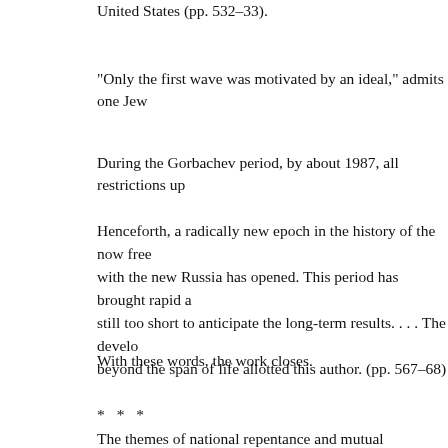United States (pp. 532–33).
“Only the first wave was motivated by an ideal,” admits one Jew
During the Gorbachev period, by about 1987, all restrictions up
Henceforth, a radically new epoch in the history of the now free with the new Russia has opened. This period has brought rapid a still too short to anticipate the long-term results. . . . The develo beyond the span of life allotted this author. (pp. 567–68)
With these words, the work closes.
* * *
The themes of national repentance and mutual understanding re Years Together. Solzhenitsyn emphasizes that they presuppose a This outlook, no doubt, is due to memories of the Communist re Bolsheviks sought to make a clean sweep of the past, and syster